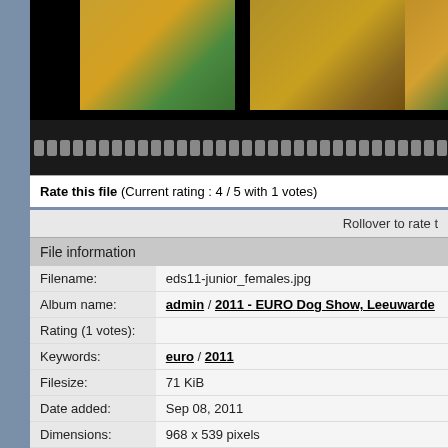[Figure (photo): Three thumbnail photos of dogs (mastiffs) at a dog show, displayed in a black strip]
[Figure (photo): Film strip decoration with grey rectangular holes on black background]
Rate this file (Current rating : 4 / 5 with 1 votes)
Rollover to rate t
File information
| Field | Value |
| --- | --- |
| Filename: | eds11-junior_females.jpg |
| Album name: | admin / 2011 - EURO Dog Show, Leeuwarden |
| Rating (1 votes): |  |
| Keywords: | euro / 2011 |
| Filesize: | 71 KiB |
| Date added: | Sep 08, 2011 |
| Dimensions: | 968 x 539 pixels |
| Displayed: | 167 times |
| URL: | http://www.mastingallery.net/cpg145/displayima |
| Favourites: | Add to Favourites |